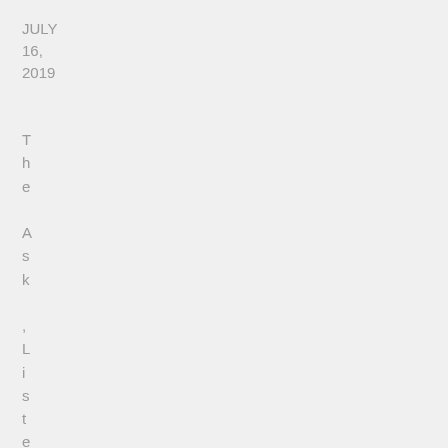JULY 16, 2019
The Ask, Listener, Lear